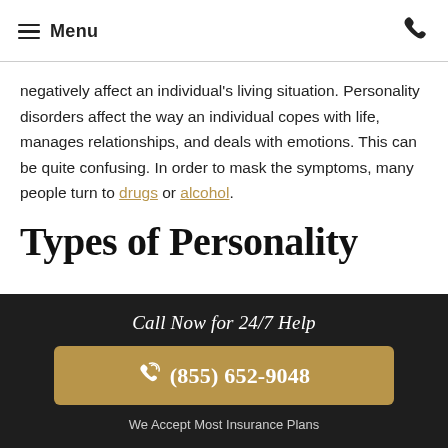Menu
negatively affect an individual's living situation. Personality disorders affect the way an individual copes with life, manages relationships, and deals with emotions. This can be quite confusing. In order to mask the symptoms, many people turn to drugs or alcohol.
Types of Personality
Call Now for 24/7 Help
(855) 652-9048
We Accept Most Insurance Plans